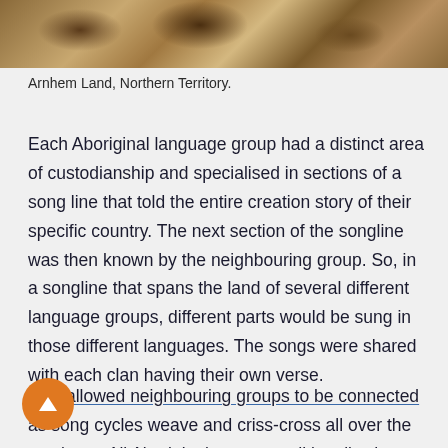[Figure (photo): Partial photo of rocky landscape in Arnhem Land, Northern Territory — rocks and dry grass visible]
Arnhem Land, Northern Territory.
Each Aboriginal language group had a distinct area of custodianship and specialised in sections of a song line that told the entire creation story of their specific country. The next section of the songline was then known by the neighbouring group. So, in a songline that spans the land of several different language groups, different parts would be sung in those different languages. The songs were shared with each clan having their own verse.
This allowed neighbouring groups to be connected as song cycles weave and criss-cross all over the continent. All Aboriginal groups traditionally share